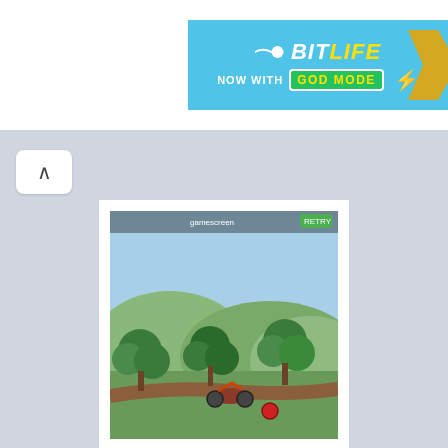[Figure (screenshot): BitLife advertisement banner — cyan/blue background with BitLife logo (sperm icon), 'NOW WITH GOD MODE' text in green badge with yellow text, and a gold arrow shape on the right]
[Figure (screenshot): Bike Baron game thumbnail showing a 2D side-scrolling motorcycle game scene with green trees, hills, and a rider on a dirt track]
Bike Baron
Bike Baron is a 3D Side-scroll, Racing and Single-player video game developed and published by Mountain Sheep for iOS. The game features different